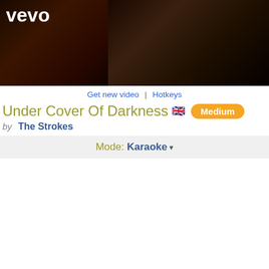[Figure (screenshot): Vevo music video banner with dark/black background showing band members, Vevo logo in top-left corner in white text]
Get new video  |  Hotkeys
Under Cover Of Darkness 🇬🇧 Medium
by The Strokes
Mode: Karaoke ▾